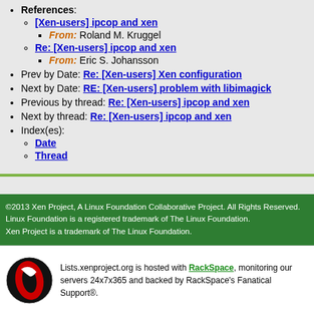References:
[Xen-users] ipcop and xen
From: Roland M. Kruggel
Re: [Xen-users] ipcop and xen
From: Eric S. Johansson
Prev by Date: Re: [Xen-users] Xen configuration
Next by Date: RE: [Xen-users] problem with libimagick
Previous by thread: Re: [Xen-users] ipcop and xen
Next by thread: Re: [Xen-users] ipcop and xen
Index(es):
Date
Thread
©2013 Xen Project, A Linux Foundation Collaborative Project. All Rights Reserved. Linux Foundation is a registered trademark of The Linux Foundation. Xen Project is a trademark of The Linux Foundation.
Lists.xenproject.org is hosted with RackSpace, monitoring our servers 24x7x365 and backed by RackSpace's Fanatical Support®.